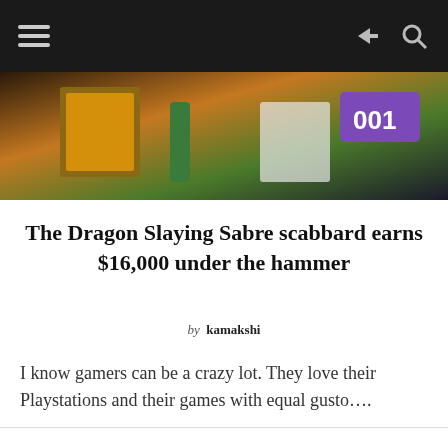Navigation bar with hamburger menu, share icon, search icon
[Figure (photo): Hero image showing auction scene with items and a purple badge numbered 001]
The Dragon Slaying Sabre scabbard earns $16,000 under the hammer
by kamakshi
I know gamers can be a crazy lot. They love their Playstations and their games with equal gusto….
ADVERTISEMENT